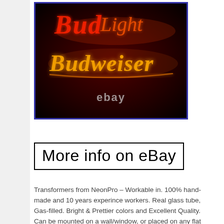[Figure (photo): Neon sign showing Budweiser logo in red/orange glowing neon letters on a dark background, with 'ebay' text watermark in white/gray at the bottom center. Blue border around the image.]
More info on eBay
Transformers from NeonPro – Workable in. 100% hand-made and 10 years experince workers. Real glass tube, Gas-filled. Bright & Prettier colors and Excellent Quality. Can be mounted on a wall/window, or placed on any flat surface. For den, family room, bedroom, garage, bar, bistro, outside patio, window shop to add fun and eye-catching. Amazing Price and Wonderful Gift! Please move carefully and gently! We guarantee the safe arrival of the neon signs. If you need your neon sign for an urgent situation or you want a. Directly for a special arrangement. If you want to. Change the size or color. Of the neon signs. Please tell us your requirements. We will make a. Sign to meet your demand. Our purpose is to make every